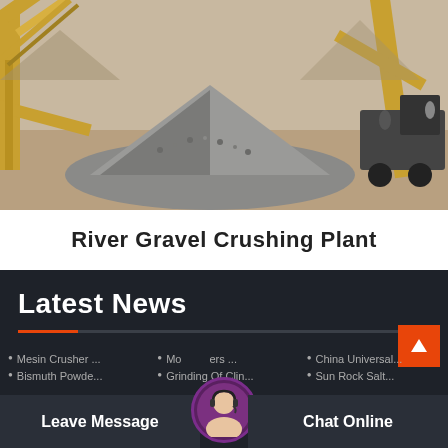[Figure (photo): Photograph of a river gravel crushing plant facility showing large machinery with conveyor belts and a large pile of crushed gravel/aggregate in the center. Heavy equipment including trucks visible in the background.]
River Gravel Crushing Plant
Latest News
Mesin Crusher ...
Mo...ers ...
China Universal...
Bismuth Powde...
Grinding Of Clin...
Sun Rock Salt...